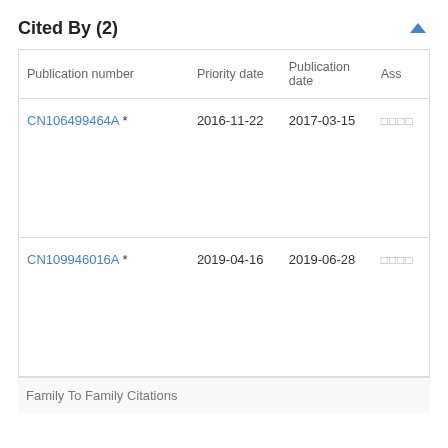Cited By (2)
| Publication number | Priority date | Publication date | Ass |
| --- | --- | --- | --- |
| CN106499464A * | 2016-11-22 | 2017-03-15 | □□□□ |
| CN109946016A * | 2019-04-16 | 2019-06-28 | □□□□ |
Family To Family Citations